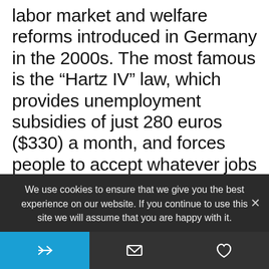labor market and welfare reforms introduced in Germany in the 2000s. The most famous is the “Hartz IV” law, which provides unemployment subsidies of just 280 euros ($330) a month, and forces people to accept whatever jobs they are offered, even at only 1-2 euros an hour.
German companies have done very well with this system, that allows them to exploit extremely cheap and flexible labor. Critics points to this
We use cookies to ensure that we give you the best experience on our website. If you continue to use this site we will assume that you are happy with it.